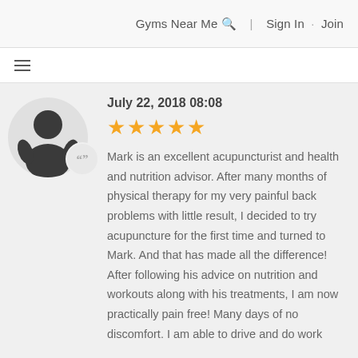Gyms Near Me 🔍  |  Sign In · Join
≡
July 22, 2018 08:08
[Figure (illustration): User avatar silhouette with quotation mark badge]
★★★★★ (5 stars)
Mark is an excellent acupuncturist and health and nutrition advisor. After many months of physical therapy for my very painful back problems with little result, I decided to try acupuncture for the first time and turned to Mark. And that has made all the difference! After following his advice on nutrition and workouts along with his treatments, I am now practically pain free! Many days of no discomfort. I am able to drive and do work